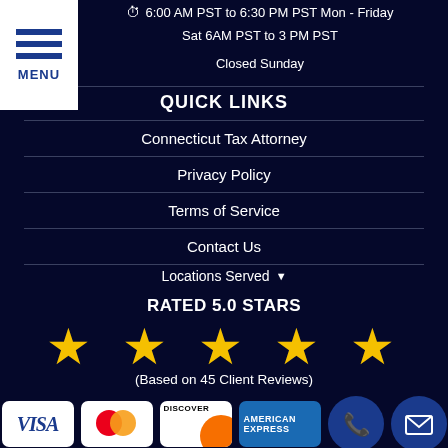[Figure (other): Hamburger menu icon with three blue horizontal bars and MENU label on white background]
6:00 AM PST to 6:30 PM PST Mon - Friday
Sat 6AM PST to 3 PM PST
Closed Sunday
QUICK LINKS
Connecticut Tax Attorney
Privacy Policy
Terms of Service
Contact Us
Locations Served ▾
RATED 5.0 STARS
[Figure (other): Five gold star rating icons]
(Based on 45 Client Reviews)
[Figure (other): Payment method logos: VISA, Mastercard, Discover, American Express, phone button, email button]